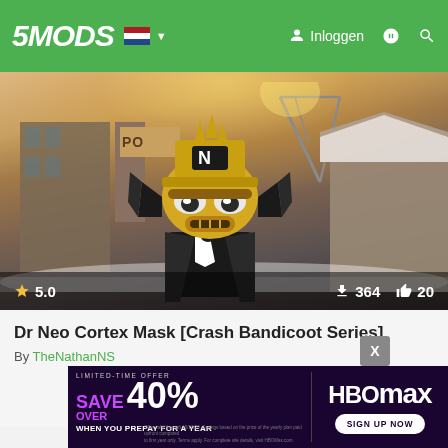5MODS — Inloggen
[Figure (screenshot): Screenshot of a GTA 5 mod showing a character wearing the Dr Neo Cortex mask from Crash Bandicoot, dressed in a tuxedo, standing in a snowy village scene with warm sunset lighting. Rating: 5.0 stars, 364 downloads, 20 likes.]
Dr Neo Cortex Mask [Crash Bandicoot Series]
By TheNathanNS
[Figure (screenshot): HBO Max advertisement banner: LIMITED-TIME OFFER SAVE OVER 40% WHEN YOU PREPAY FOR A YEAR. SIGN UP NOW button. Fine print about offer validity.]